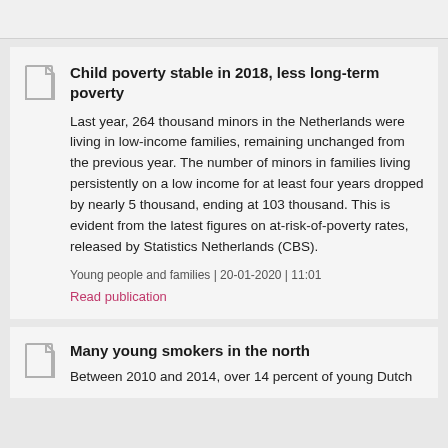Child poverty stable in 2018, less long-term poverty
Last year, 264 thousand minors in the Netherlands were living in low-income families, remaining unchanged from the previous year. The number of minors in families living persistently on a low income for at least four years dropped by nearly 5 thousand, ending at 103 thousand. This is evident from the latest figures on at-risk-of-poverty rates, released by Statistics Netherlands (CBS).
Young people and families | 20-01-2020 | 11:01
Read publication
Many young smokers in the north
Between 2010 and 2014, over 14 percent of young Dutch